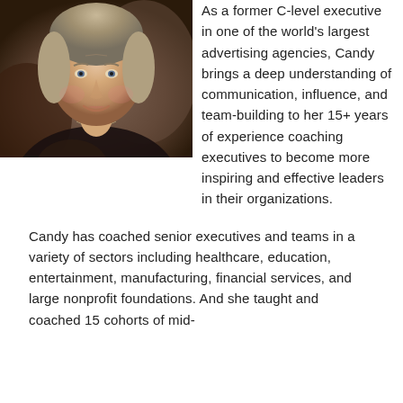[Figure (photo): Headshot photo of a middle-aged woman with short light-colored hair, smiling, wearing a dark top and necklace, photographed indoors.]
As a former C-level executive in one of the world's largest advertising agencies, Candy brings a deep understanding of communication, influence, and team-building to her 15+ years of experience coaching executives to become more inspiring and effective leaders in their organizations.
Candy has coached senior executives and teams in a variety of sectors including healthcare, education, entertainment, manufacturing, financial services, and large nonprofit foundations. And she taught and coached 15 cohorts of mid-